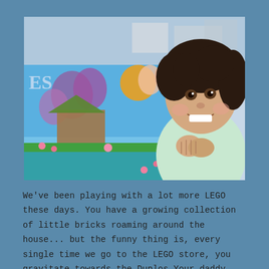[Figure (photo): A young smiling girl with curly dark hair, wearing a light green shirt, hugging a LEGO Elves set box with colorful fantasy imagery on the front. Background shows a blurred room.]
We've been playing with a lot more LEGO these days. You have a growing collection of little bricks roaming around the house... but the funny thing is, every single time we go to the LEGO store, you gravitate towards the Duplos Your daddy has been